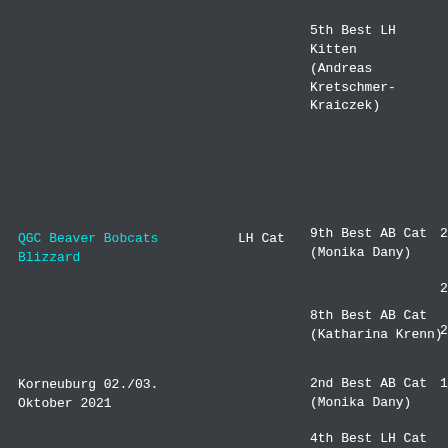5th Best LH Kitten (Andreas Kretschmer-Kraiczek)
QGC Beaver Bobcats Blizzard
LH Cat
9th Best AB Cat (Monika Dany) 24
24
8th Best AB Cat (Katharina Krenn) 22
2nd Best AB Cat (Monika Dany) 17
4th Best LH Cat (Katharina Krenn)
Korneuburg 02./03. Oktober 2021